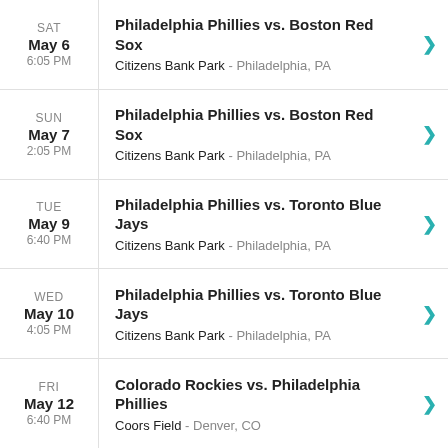SAT May 6 6:05 PM — Philadelphia Phillies vs. Boston Red Sox — Citizens Bank Park - Philadelphia, PA
SUN May 7 2:05 PM — Philadelphia Phillies vs. Boston Red Sox — Citizens Bank Park - Philadelphia, PA
TUE May 9 6:40 PM — Philadelphia Phillies vs. Toronto Blue Jays — Citizens Bank Park - Philadelphia, PA
WED May 10 4:05 PM — Philadelphia Phillies vs. Toronto Blue Jays — Citizens Bank Park - Philadelphia, PA
FRI May 12 6:40 PM — Colorado Rockies vs. Philadelphia Phillies — Coors Field - Denver, CO